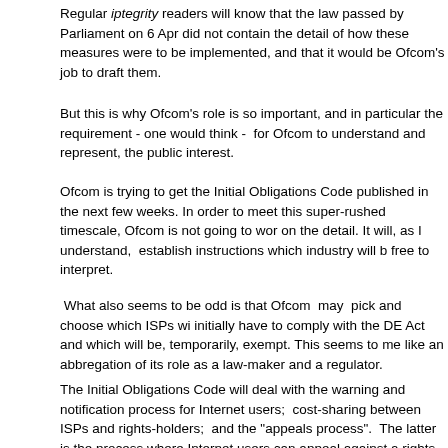Regular iptegrity readers will know that the law passed by Parliament on 6 April did not contain the detail of how these measures were to be implemented, and that it would be Ofcom's job to draft them.
But this is why Ofcom's role is so important, and in particular the requirement - one would think -  for Ofcom to understand and represent, the public interest.
Ofcom is trying to get the Initial Obligations Code published in the next few weeks. In order to meet this super-rushed timescale, Ofcom is not going to work on the detail. It will, as I understand,  establish instructions which industry will be free to interpret.
What also seems to be odd is that Ofcom  may  pick and choose which ISPs will initially have to comply with the DE Act and which will be, temporarily, exempt. This seems to me like an abbregation of its role as a law-maker and a regulator.
The Initial Obligations Code will deal with the warning and notification process for Internet users;  cost-sharing between ISPs and rights-holders;  and the "appeals process".  The latter is the process where Internet users can appeal against a rights-holder allegation, and which is arguably in contravention of EU